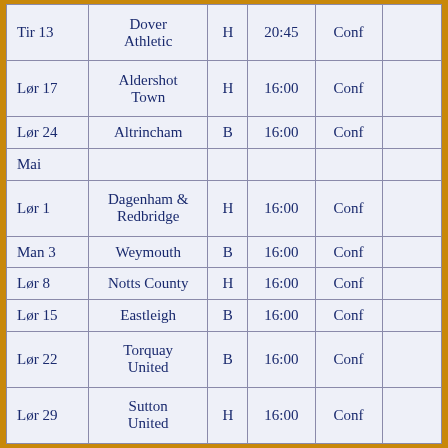| Tir 13 | Dover Athletic | H | 20:45 | Conf |  |
| Lør 17 | Aldershot Town | H | 16:00 | Conf |  |
| Lør 24 | Altrincham | B | 16:00 | Conf |  |
| Mai |  |  |  |  |  |
| Lør 1 | Dagenham & Redbridge | H | 16:00 | Conf |  |
| Man 3 | Weymouth | B | 16:00 | Conf |  |
| Lør 8 | Notts County | H | 16:00 | Conf |  |
| Lør 15 | Eastleigh | B | 16:00 | Conf |  |
| Lør 22 | Torquay United | B | 16:00 | Conf |  |
| Lør 29 | Sutton United | H | 16:00 | Conf |  |